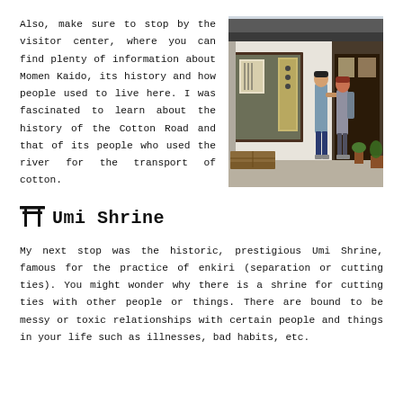Also, make sure to stop by the visitor center, where you can find plenty of information about Momen Kaido, its history and how people used to live here. I was fascinated to learn about the history of the Cotton Road and that of its people who used the river for the transport of cotton.
[Figure (photo): Two people standing at the entrance of a traditional Japanese building (visitor center), with signs and displays visible inside.]
Umi Shrine
My next stop was the historic, prestigious Umi Shrine, famous for the practice of enkiri (separation or cutting ties). You might wonder why there is a shrine for cutting ties with other people or things. There are bound to be messy or toxic relationships with certain people and things in your life such as illnesses, bad habits, etc.